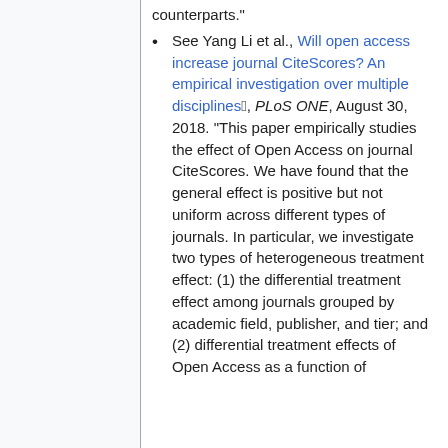counterparts."
See Yang Li et al., Will open access increase journal CiteScores? An empirical investigation over multiple disciplines, PLoS ONE, August 30, 2018. "This paper empirically studies the effect of Open Access on journal CiteScores. We have found that the general effect is positive but not uniform across different types of journals. In particular, we investigate two types of heterogeneous treatment effect: (1) the differential treatment effect among journals grouped by academic field, publisher, and tier; and (2) differential treatment effects of Open Access as a function of